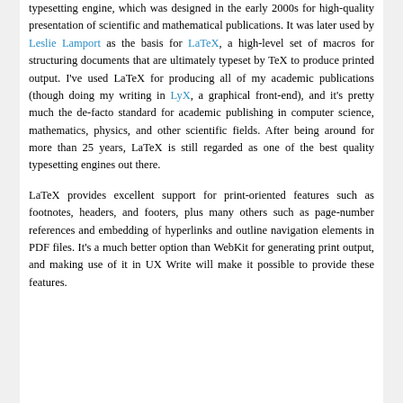typesetting engine, which was designed in the early 2000s for high-quality presentation of scientific and mathematical publications. It was later used by Leslie Lamport as the basis for LaTeX, a high-level set of macros for structuring documents that are ultimately typeset by TeX to produce printed output. I've used LaTeX for producing all of my academic publications (though doing my writing in LyX, a graphical front-end), and it's pretty much the de-facto standard for academic publishing in computer science, mathematics, physics, and other scientific fields. After being around for more than 25 years, LaTeX is still regarded as one of the best quality typesetting engines out there.
LaTeX provides excellent support for print-oriented features such as footnotes, headers, and footers, plus many others such as page-number references and embedding of hyperlinks and outline navigation elements in PDF files. It's a much better option than WebKit for generating print output, and making use of it in UX Write will make it possible to provide these features.